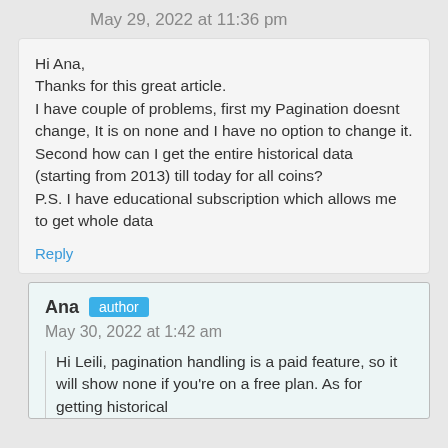May 29, 2022 at 11:36 pm
Hi Ana,
Thanks for this great article.
I have couple of problems, first my Pagination doesnt change, It is on none and I have no option to change it.
Second how can I get the entire historical data (starting from 2013) till today for all coins?
P.S. I have educational subscription which allows me to get whole data
Reply
Ana author
May 30, 2022 at 1:42 am
Hi Leili, pagination handling is a paid feature, so it will show none if you're on a free plan. As for getting historical data…